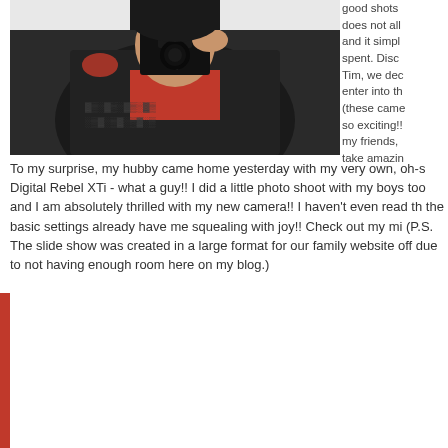[Figure (photo): A person holding a Canon camera up to their face, wearing a dark hoodie with decorative pattern and red underneath, photographed in front of a mirror.]
good shots does not all and it simpl spent. Disc Tim, we dec enter into th (these came so exciting!! my friends, take amazin
To my surprise, my hubby came home yesterday with my very own, oh-s Digital Rebel XTi - what a guy!! I did a little photo shoot with my boys too and I am absolutely thrilled with my new camera!! I haven't even read th the basic settings already have me squealing with joy!! Check out my mi (P.S. The slide show was created in a large format for our family website off due to not having enough room here on my blog.)